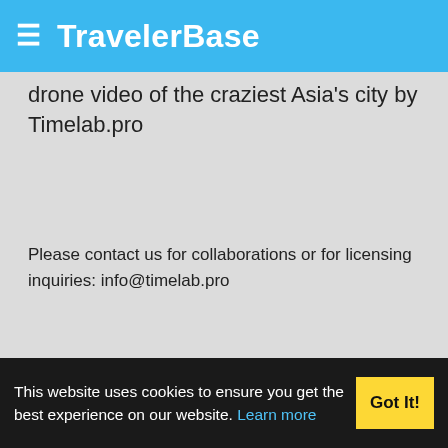TravelerBase
drone video of the craziest Asia's city by Timelab.pro
Please contact us for collaborations or for licensing inquiries: info@timelab.pro
Subscribe on Timelab:
Original Music by Artem Zinovyev
Special thanks Vensus lens for Laowa 9mm f/2.8 lens.
Laowa - Venus Optics youtube channel:
Filmed with Zenmuse X7 camera, attached to a DJI Inspire 2 drone.
[Figure (screenshot): Partial thumbnail image of a video]
This website uses cookies to ensure you get the best experience on our website. Learn more